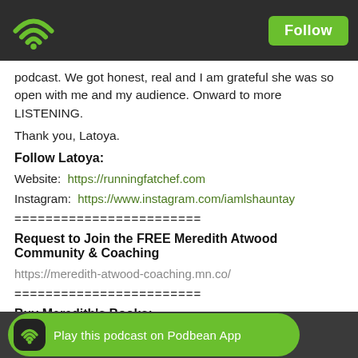Follow [WiFi/Podcast icon] | Follow button
podcast. We got honest, real and I am grateful she was so open with me and my audience. Onward to more LISTENING.
Thank you, Latoya.
Follow Latoya:
Website:  https://runningfatchef.com
Instagram:  https://www.instagram.com/iamlshauntay
========================
Request to Join the FREE Meredith Atwood Community & Coaching
https://meredith-atwood-coaching.mn.co/
========================
Buy Meredith's Books:
The Year of No Nonsense
https://amz...
Triathlon fo...
[Figure (other): Podbean App banner at bottom: green pill button with Podbean wifi icon and text 'Play this podcast on Podbean App']